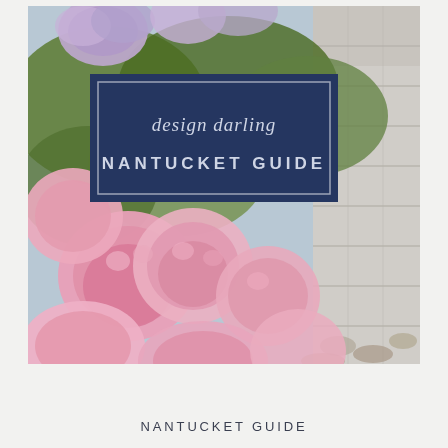[Figure (photo): A photograph of pink and purple hydrangea flowers in bloom with green leaves, with a stone wall/sidewalk visible on the right side. Overlaid on the photo is a navy blue rectangular box containing the text 'design darling NANTUCKET GUIDE' with a thin white border inside the box.]
NANTUCKET GUIDE